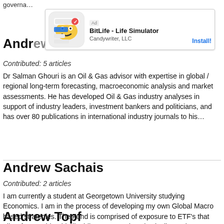governa...
[Figure (screenshot): Ad banner for BitLife - Life Simulator by Candywriter, LLC with Install button]
Andrew ... & Salman Ghouri
Contributed: 5 articles
Dr Salman Ghouri is an Oil & Gas advisor with expertise in global / regional long-term forecasting, macroeconomic analysis and market assessments. He has developed Oil & Gas industry analyses in support of industry leaders, investment bankers and politicians, and has over 80 publications in international industry journals to his…
Andrew Sachais
Contributed: 2 articles
I am currently a student at Georgetown University studying Economics. I am in the process of developing my own Global Macro based strategies. The Fund is comprised of exposure to ETF's that allow for considerable liquidity, compared to physically owning more illiquid foreign assets. I also provide Global Macro strategy…
Andrew Topf